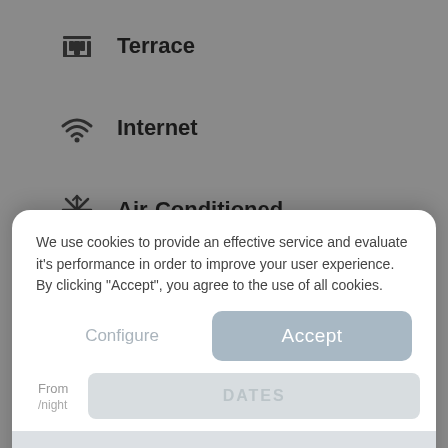Terrace
Internet
Air-Conditioned
TV
We use cookies to provide an effective service and evaluate it's performance in order to improve your user experience. By clicking "Accept", you agree to the use of all cookies.
Distribution of bedrooms
Configure
Accept
From
/night
DATES
DATES